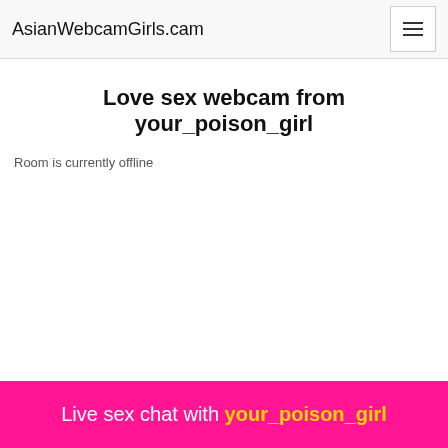AsianWebcamGirls.cam
Love sex webcam from your_poison_girl
Room is currently offline
Live sex chat with your_poison_girl